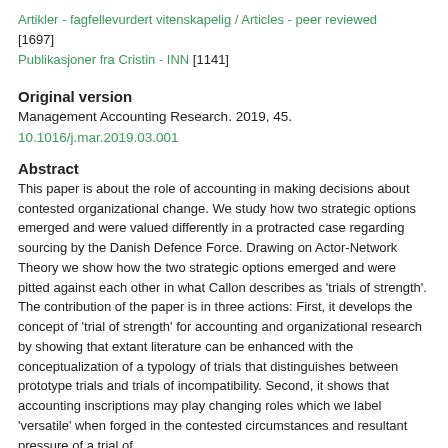Artikler - fagfellevurdert vitenskapelig / Articles - peer reviewed [1697]
Publikasjoner fra Cristin - INN [1141]
Original version
Management Accounting Research. 2019, 45.
10.1016/j.mar.2019.03.001
Abstract
This paper is about the role of accounting in making decisions about contested organizational change. We study how two strategic options emerged and were valued differently in a protracted case regarding sourcing by the Danish Defence Force. Drawing on Actor-Network Theory we show how the two strategic options emerged and were pitted against each other in what Callon describes as 'trials of strength'. The contribution of the paper is in three actions: First, it develops the concept of 'trial of strength' for accounting and organizational research by showing that extant literature can be enhanced with the conceptualization of a typology of trials that distinguishes between prototype trials and trials of incompatibility. Second, it shows that accounting inscriptions may play changing roles which we label 'versatile' when forged in the contested circumstances and resultant pressure of a trial of